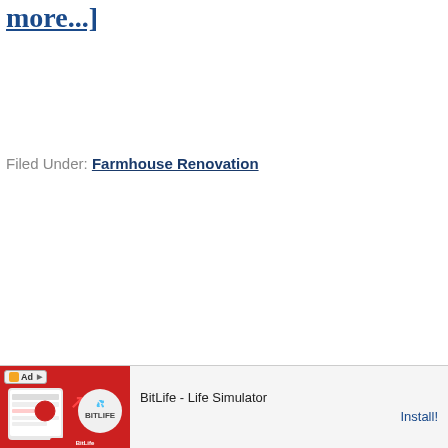($42 per door).  So we bought it [Read more...]
Filed Under: Farmhouse Renovation
[Figure (other): Advertisement banner for BitLife - Life Simulator app with red background image and Install button]